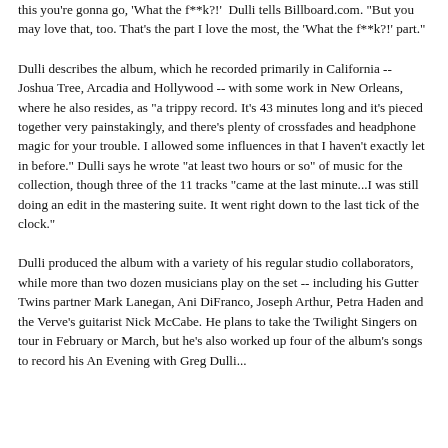this you're gonna go, 'What the f**k?!' Dulli tells Billboard.com. "But you may love that, too. That's the part I love the most, the 'What the f**k?!' part."
Dulli describes the album, which he recorded primarily in California -- Joshua Tree, Arcadia and Hollywood -- with some work in New Orleans, where he also resides, as "a trippy record. It's 43 minutes long and it's pieced together very painstakingly, and there's plenty of crossfades and headphone magic for your trouble. I allowed some influences in that I haven't exactly let in before." Dulli says he wrote "at least two hours or so" of music for the collection, though three of the 11 tracks "came at the last minute...I was still doing an edit in the mastering suite. It went right down to the last tick of the clock."
Dulli produced the album with a variety of his regular studio collaborators, while more than two dozen musicians play on the set -- including his Gutter Twins partner Mark Lanegan, Ani DiFranco, Joseph Arthur, Petra Haden and the Verve's guitarist Nick McCabe. He plans to take the Twilight Singers on tour in February or March, but he's also worked up four of the album's songs to record his An Evening with Greg Dulli...